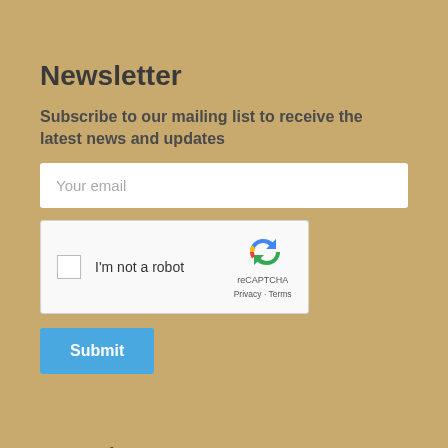Newsletter
Subscribe to our mailing list to receive the latest news and updates
[Figure (screenshot): Email input field with placeholder text 'Your email']
[Figure (screenshot): reCAPTCHA widget with checkbox labeled 'I'm not a robot' and reCAPTCHA logo with Privacy and Terms links]
[Figure (screenshot): Blue Submit button]
Amy Friesen
hello@amyfriesen.com